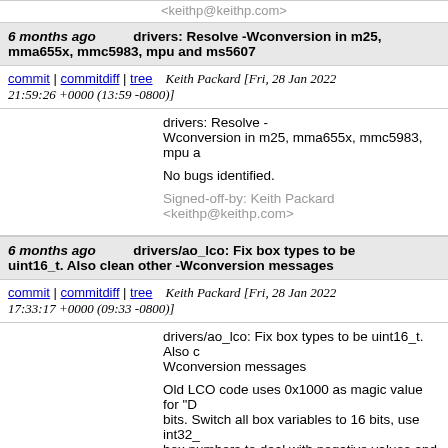<keithp@keithp.com>
6 months ago    drivers: Resolve -Wconversion in m25, mma655x, mmc5983, mpu and ms5607
commit | commitdiff | tree    Keith Packard [Fri, 28 Jan 2022 21:59:26 +0000 (13:59 -0800)]
drivers: Resolve -Wconversion in m25, mma655x, mmc5983, mpu a

No bugs identified.

Signed-off-by: Keith Packard <keithp@keithp.com>
6 months ago    drivers/ao_lco: Fix box types to be uint16_t. Also clean other -Wconversion messages
commit | commitdiff | tree    Keith Packard [Fri, 28 Jan 2022 17:33:17 +0000 (09:33 -0800)]
drivers/ao_lco: Fix box types to be uint16_t. Also c
Wconversion messages

Old LCO code uses 0x1000 as magic value for "D
bits. Switch all box variables to 16 bits, use int32_
box numbers to deal with negative values and still
possible range (even though 16 bits "should" be p

Signed-off-by: Keith Packard